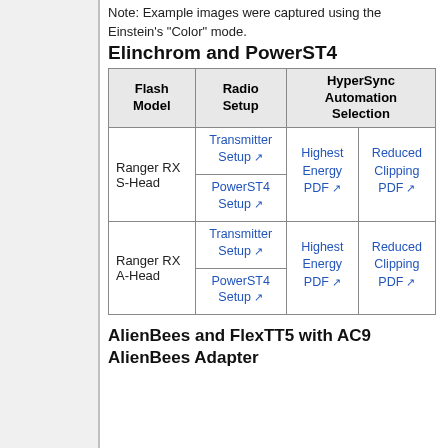Note: Example images were captured using the Einstein's "Color" mode.
Elinchrom and PowerST4
| Flash Model | Radio Setup | HyperSync Automation Selection |
| --- | --- | --- |
| Ranger RX S-Head | Transmitter Setup
PowerST4 Setup | Highest Energy PDF
Reduced Clipping PDF |
| Ranger RX A-Head | Transmitter Setup
PowerST4 Setup | Highest Energy PDF
Reduced Clipping PDF |
AlienBees and FlexTT5 with AC9 AlienBees Adapter